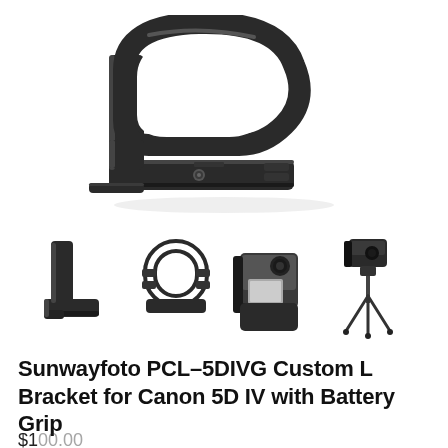[Figure (photo): Main product photo of Sunwayfoto PCL-5DIVG Custom L Bracket — black aluminum L-shaped mounting bracket with a curved grip loop at top and a flat base plate with mounting screw, shown on a white background]
[Figure (photo): Row of four thumbnail product photos: (1) L-bracket alone from front-left angle, (2) L-bracket from rear showing the grip loop, (3) L-bracket attached to Canon 5D IV camera with battery grip, (4) full camera+bracket setup mounted on a tripod]
Sunwayfoto PCL–5DIVG Custom L Bracket for Canon 5D IV with Battery Grip
$100.00